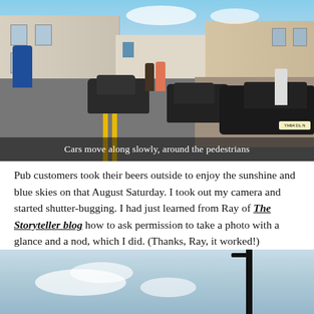[Figure (photo): Street scene in a Scottish coastal town showing cars moving slowly around pedestrians on a shared road. Yellow double lines on road, stone buildings, blue sky. Caption overlay: 'Cars move along slowly, around the pedestrians']
Cars move along slowly, around the pedestrians
Pub customers took their beers outside to enjoy the sunshine and blue skies on that August Saturday. I took out my camera and started shutter-bugging. I had just learned from Ray of The Storyteller blog how to ask permission to take a photo with a glance and a nod, which I did. (Thanks, Ray, it worked!)
[Figure (photo): Partial view of blue sky with clouds and a dark vertical pole, bottom of page]